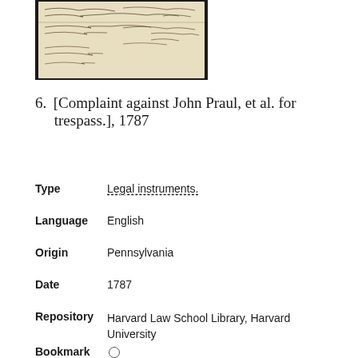[Figure (photo): Scanned image of a historical handwritten document on aged paper with cursive handwritten text, dark background]
6.  [Complaint against John Praul, et al. for trespass.], 1787
Type   Legal instruments.
Language   English
Origin   Pennsylvania
Date   1787
Repository   Harvard Law School Library, Harvard University
Bookmark   ○